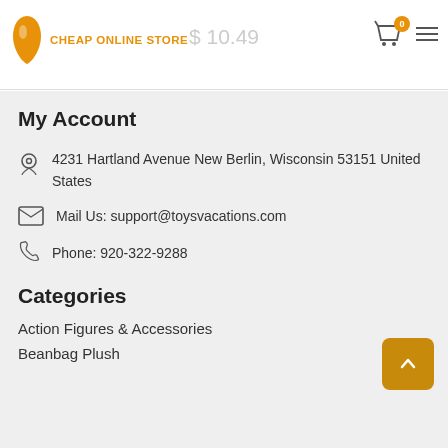Cheap Online Store — $10.49 — Cart: 0 items
My Account
4231 Hartland Avenue New Berlin, Wisconsin 53151 United States
Mail Us: support@toysvacations.com
Phone: 920-322-9288
Categories
Action Figures & Accessories
Beanbag Plush